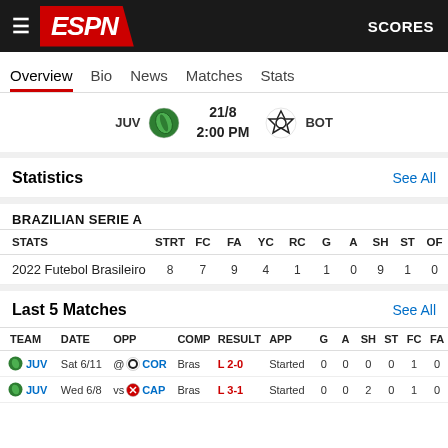ESPN — SCORES
Overview | Bio | News | Matches | Stats
JUV  21/8  2:00 PM  BOT
Statistics  See All
BRAZILIAN SERIE A
| STATS | STRT | FC | FA | YC | RC | G | A | SH | ST | OF |
| --- | --- | --- | --- | --- | --- | --- | --- | --- | --- | --- |
| 2022 Futebol Brasileiro | 8 | 7 | 9 | 4 | 1 | 1 | 0 | 9 | 1 | 0 |
Last 5 Matches  See All
| TEAM | DATE | OPP |  | COMP | RESULT | APP | G | A | SH | ST | FC | FA |
| --- | --- | --- | --- | --- | --- | --- | --- | --- | --- | --- | --- | --- |
| JUV | Sat 6/11 | @ | COR | Bras | L 2-0 | Started | 0 | 0 | 0 | 0 | 1 | 0 |
| JUV | Wed 6/8 | vs | CAP | Bras | L 3-1 | Started | 0 | 0 | 2 | 0 | 1 | 0 |